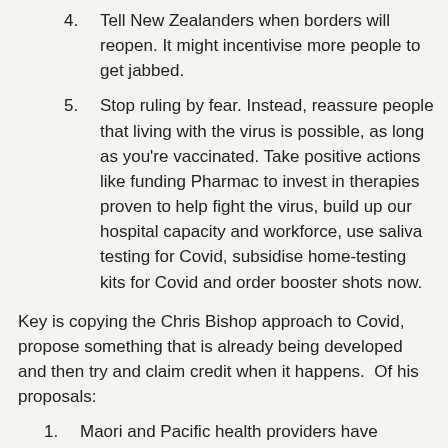4. Tell New Zealanders when borders will reopen. It might incentivise more people to get jabbed.
5. Stop ruling by fear. Instead, reassure people that living with the virus is possible, as long as you're vaccinated. Take positive actions like funding Pharmac to invest in therapies proven to help fight the virus, build up our hospital capacity and workforce, use saliva testing for Covid, subsidise home-testing kits for Covid and order booster shots now.
Key is copying the Chris Bishop approach to Covid, propose something that is already being developed and then try and claim credit when it happens.  Of his proposals:
1. Maori and Pacific health providers have already